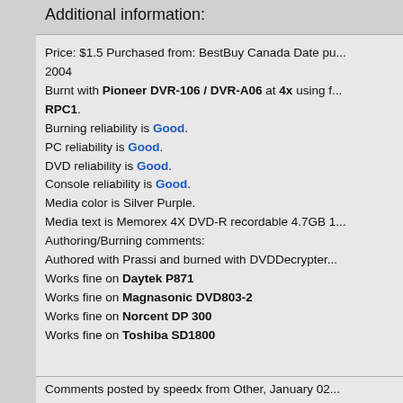Additional information:
Price: $1.5 Purchased from: BestBuy Canada Date purchased: 2004
Burnt with Pioneer DVR-106 / DVR-A06 at 4x using firmware RPC1.
Burning reliability is Good.
PC reliability is Good.
DVD reliability is Good.
Console reliability is Good.
Media color is Silver Purple.
Media text is Memorex 4X DVD-R recordable 4.7GB 1...
Authoring/Burning comments:
Authored with Prassi and burned with DVDDecrypter...
Works fine on Daytek P871
Works fine on Magnasonic DVD803-2
Works fine on Norcent DP 300
Works fine on Toshiba SD1800
Comments posted by speedx from Other, January 02...